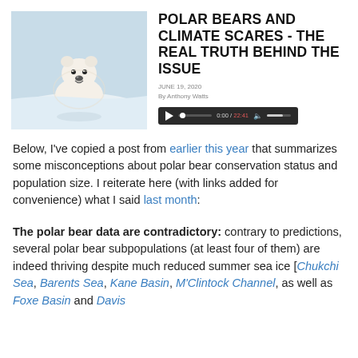[Figure (photo): A polar bear resting on snow/ice, looking at the camera, bright blue-white snowy background.]
POLAR BEARS AND CLIMATE SCARES - THE REAL TRUTH BEHIND THE ISSUE
JUNE 19, 2020
By Anthony Watts
[Figure (other): Audio player widget showing play button, progress bar, time 0:00 / 22:41, volume control on dark background.]
Below, I've copied a post from earlier this year that summarizes some misconceptions about polar bear conservation status and population size. I reiterate here (with links added for convenience) what I said last month:
The polar bear data are contradictory: contrary to predictions, several polar bear subpopulations (at least four of them) are indeed thriving despite much reduced summer sea ice [Chukchi Sea, Barents Sea, Kane Basin, M'Clintock Channel, as well as Foxe Basin and Davis